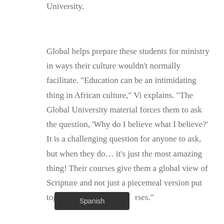University.
Global helps prepare these students for ministry in ways their culture wouldn't normally facilitate. “Education can be an intimidating thing in African culture,” Vi explains. “The Global University material forces them to ask the question, ‘Why do I believe what I believe?’ It is a challenging question for anyone to ask, but when they do… it’s just the most amazing thing! Their courses give them a global view of Scripture and not just a piecemeal version put together with random S…rses.”
Spanish